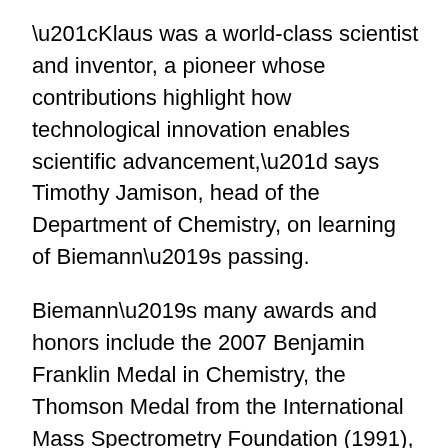“Klaus was a world-class scientist and inventor, a pioneer whose contributions highlight how technological innovation enables scientific advancement,” says Timothy Jamison, head of the Department of Chemistry, on learning of Biemann’s passing.
Biemann’s many awards and honors include the 2007 Benjamin Franklin Medal in Chemistry, the Thomson Medal from the International Mass Spectrometry Foundation (1991), the first Field and Franklin Award in Mass Spectrometry from the American Chemical Society (1986), the Fritz Pregl Medal of the Austrian Microchemical Society (1977), the Exceptional Scientific Achievement Medal from NASA (1977), and the Stas Medal of the Belgian